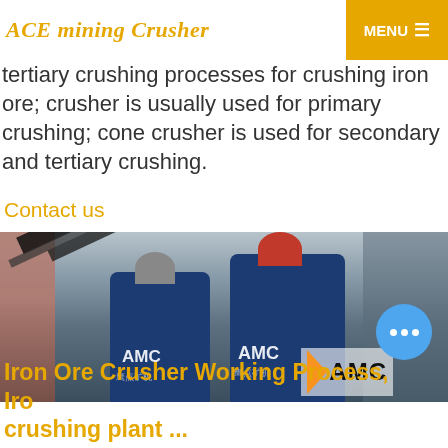ACE mining Crusher | MENU
tertiary crushing processes for crushing iron ore; crusher is usually used for primary crushing; cone crusher is used for secondary and tertiary crushing.
Contact us
[Figure (photo): Workers in blue AMC uniforms and hard hats working at a mining crush plant with conveyor belts and industrial machinery. AMC logo visible on equipment and a watermark in the bottom right corner.]
Iron Ore Crusher Working Process, Iron Ore crushing plant ...